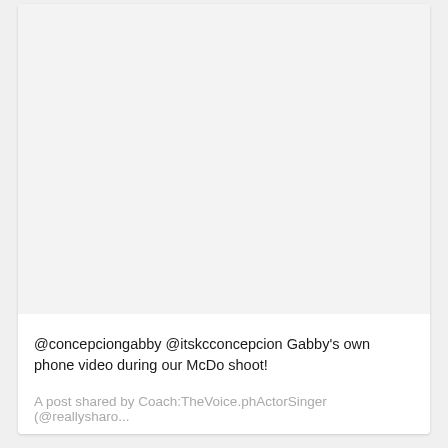[Figure (photo): Large light gray placeholder image area representing a social media post photo/video]
@concepciongabby @itskcconcepcion Gabby's own phone video during our McDo shoot!
A post shared by Coach:TheVoice.phActorSinger (@reallysharo...